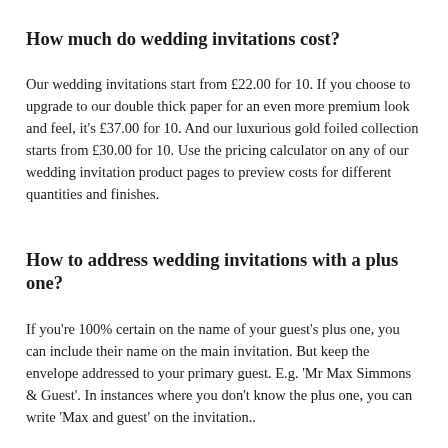How much do wedding invitations cost?
Our wedding invitations start from £22.00 for 10. If you choose to upgrade to our double thick paper for an even more premium look and feel, it's £37.00 for 10. And our luxurious gold foiled collection starts from £30.00 for 10. Use the pricing calculator on any of our wedding invitation product pages to preview costs for different quantities and finishes.
How to address wedding invitations with a plus one?
If you're 100% certain on the name of your guest's plus one, you can include their name on the main invitation. But keep the envelope addressed to your primary guest. E.g. 'Mr Max Simmons & Guest'. In instances where you don't know the plus one, you can write 'Max and guest' on the invitation..